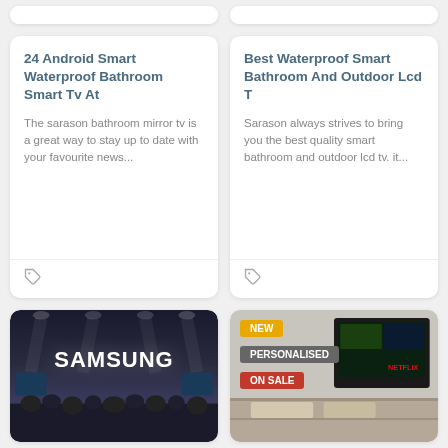[Figure (screenshot): Top partial view of two article cards (cropped at top)]
24 Android Smart Waterproof Bathroom Smart Tv At
The sarason bathroom mirror tv is a great way to stay up to date with your favourite news...
Best Waterproof Smart Bathroom And Outdoor Lcd T
Sarason always strives to bring you the best quality smart bathroom and outdoor lcd tv. it...
[Figure (photo): Samsung exhibition hall with large SAMSUNG sign and crowd]
[Figure (photo): Smart TV mounted on wall with badges: NEW, PERSONALISED, ON SALE and shelving unit below]